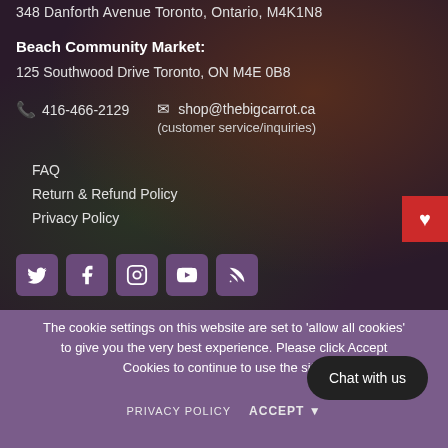348 Danforth Avenue Toronto, Ontario, M4K1N8
Beach Community Market:
125 Southwood Drive Toronto, ON M4E 0B8
416-466-2129   shop@thebigcarrot.ca (customer service/inquiries)
FAQ
Return & Refund Policy
Privacy Policy
[Figure (infographic): Social media icon buttons: Twitter, Facebook, Instagram, YouTube, RSS feed]
The cookie settings on this website are set to 'allow all cookies' to give you the very best experience. Please click Accept Cookies to continue to use the site.
Chat with us
PRIVACY POLICY   ACCEPT